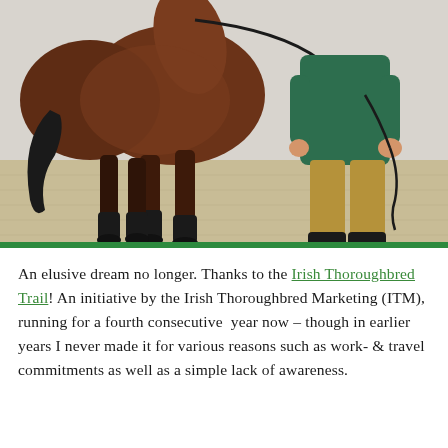[Figure (photo): A brown thoroughbred horse being walked on a lead rein by a person in a green jacket and khaki trousers, photographed from the front showing the horse's legs and the handler's lower body on a sandy stable yard surface.]
An elusive dream no longer. Thanks to the Irish Thoroughbred Trail! An initiative by the Irish Thoroughbred Marketing (ITM), running for a fourth consecutive year now – though in earlier years I never made it for various reasons such as work- & travel commitments as well as a simple lack of awareness.